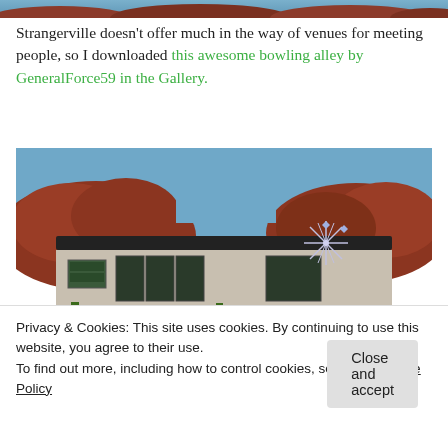[Figure (photo): Partial top strip of a game screenshot showing a blue sky and reddish-brown rocky terrain]
Strangerville doesn't offer much in the way of venues for meeting people, so I downloaded this awesome bowling alley by GeneralForce59 in the Gallery.
[Figure (screenshot): Screenshot of a Sims 4 bowling alley building in Strangerville, with red rock formations in the background, a flat-roofed modern building with large windows and desert plants, and a decorative starburst sign]
Privacy & Cookies: This site uses cookies. By continuing to use this website, you agree to their use.
To find out more, including how to control cookies, see here: Cookie Policy
Close and accept